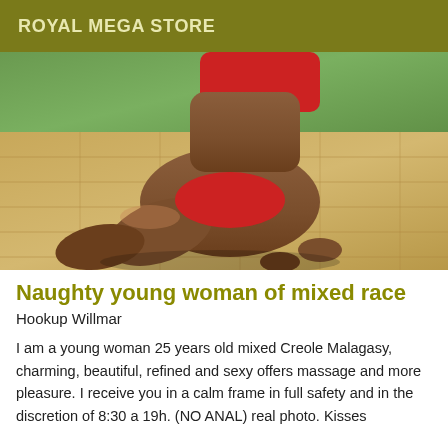ROYAL MEGA STORE
[Figure (photo): A young woman in a red bikini posing on a tiled outdoor patio with greenery in the background.]
Naughty young woman of mixed race
Hookup Willmar
I am a young woman 25 years old mixed Creole Malagasy, charming, beautiful, refined and sexy offers massage and more pleasure. I receive you in a calm frame in full safety and in the discretion of 8:30 a 19h. (NO ANAL) real photo. Kisses